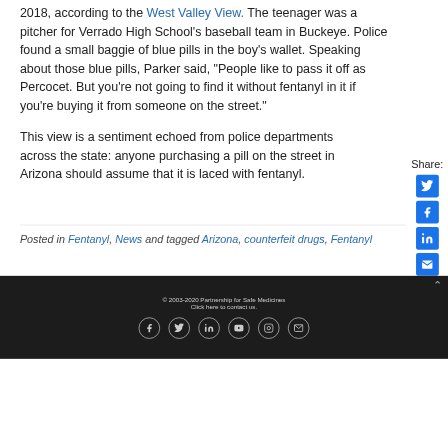2018, according to the West Valley View. The teenager was a pitcher for Verrado High School's baseball team in Buckeye. Police found a small baggie of blue pills in the boy's wallet. Speaking about those blue pills, Parker said, "People like to pass it off as Percocet. But you're not going to find it without fentanyl in it if you're buying it from someone on the street."
This view is a sentiment echoed from police departments across the state: anyone purchasing a pill on the street in Arizona should assume that it is laced with fentanyl.
Posted in Fentanyl, News and tagged Arizona, counterfeit drugs, Fentanyl
© 2003-2020 Partnership for Safe Medicines
Click here to contact us.